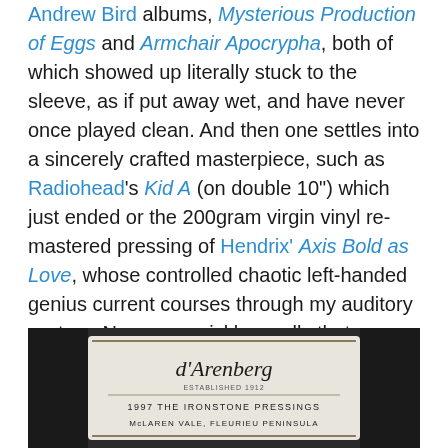Andrew Bird albums, Mysterious Production of Eggs and Armchair Apocrypha, both of which showed up literally stuck to the sleeve, as if put away wet, and have never once played clean. And then one settles into a sincerely crafted masterpiece, such as Radiohead's Kid A (on double 10") which just ended or the 200gram virgin vinyl re-mastered pressing of Hendrix' Axis Bold as Love, whose controlled chaotic left-handed genius current courses through my auditory system. Now one quickly recalls that every advancement in audio (before digital compression) was a failed attempt to sound as warm and as real as a record. Because we're all bold as love, just ask the axis. He knows everything.
[Figure (photo): Black and white photograph of a wine bottle label reading d'Arenberg, established 1912, 1997 The Ironstone Pressings, McLaren Vale, Fleurieu Peninsula]